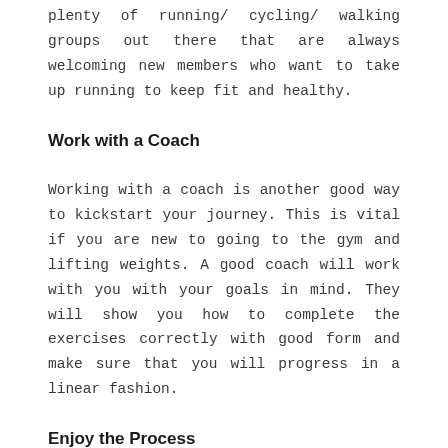plenty of running/ cycling/ walking groups out there that are always welcoming new members who want to take up running to keep fit and healthy.
Work with a Coach
Working with a coach is another good way to kickstart your journey. This is vital if you are new to going to the gym and lifting weights. A good coach will work with you with your goals in mind. They will show you how to complete the exercises correctly with good form and make sure that you will progress in a linear fashion.
Enjoy the Process
The most important thing is that you completely enjoy the process. There is absolutely no point in doing something if it feels more like a chore than anything else! As I've said already,